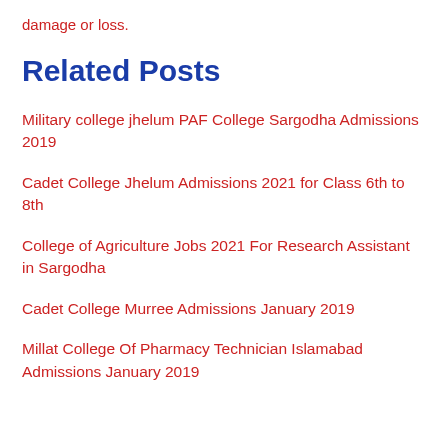damage or loss.
Related Posts
Military college jhelum PAF College Sargodha Admissions 2019
Cadet College Jhelum Admissions 2021 for Class 6th to 8th
College of Agriculture Jobs 2021 For Research Assistant in Sargodha
Cadet College Murree Admissions January 2019
Millat College Of Pharmacy Technician Islamabad Admissions January 2019